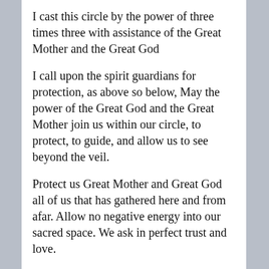I cast this circle by the power of three times three with assistance of the Great Mother and the Great God
I call upon the spirit guardians for protection, as above so below, May the power of the Great God and the Great Mother join us within our circle, to protect, to guide, and allow us to see beyond the veil.
Protect us Great Mother and Great God all of us that has gathered here and from afar. Allow no negative energy into our sacred space. We ask in perfect trust and love.
-
Greetings: